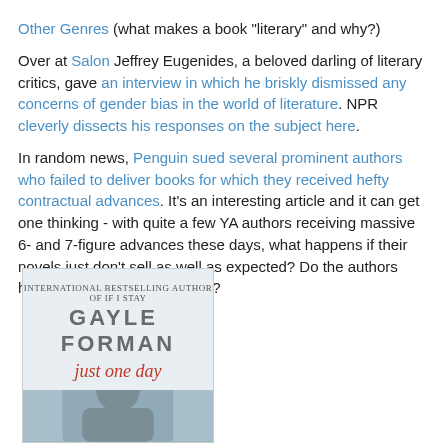Other Genres (what makes a book "literary" and why?)
Over at Salon Jeffrey Eugenides, a beloved darling of literary critics, gave an interview in which he briskly dismissed any concerns of gender bias in the world of literature. NPR cleverly dissects his responses on the subject here.
In random news, Penguin sued several prominent authors who failed to deliver books for which they received hefty contractual advances. It's an interesting article and it can get one thinking - with quite a few YA authors receiving massive 6- and 7-figure advances these days, what happens if their novels just don't sell as well as expected? Do the authors have to return their advances?
[Figure (photo): Book cover of 'Just One Day' by Gayle Forman. Shows author name GAYLE FORMAN in large grey letters, the title 'just one day' in red italic script, and a partial image of a person's face below.]